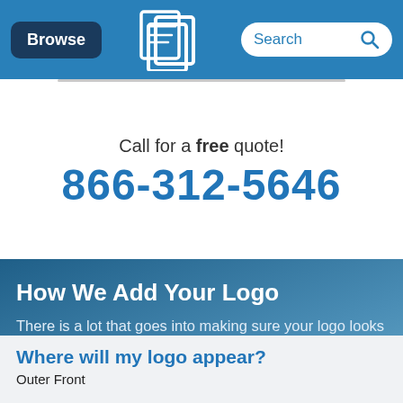Browse | [Logo] | Search
Call for a free quote!
866-312-5646
How We Add Your Logo
There is a lot that goes into making sure your logo looks absolutely perfect. Here is only the important stuff.
Where will my logo appear?
Outer Front